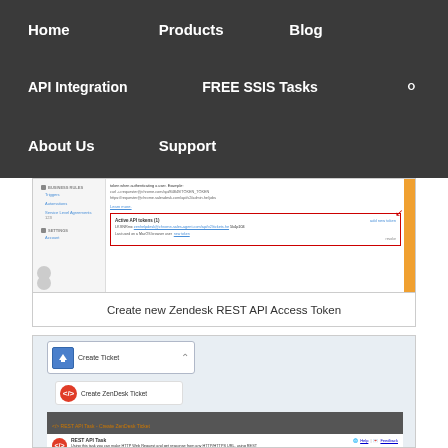Home   Products   Blog   API Integration   FREE SSIS Tasks   About Us   Support
[Figure (screenshot): Screenshot of Zendesk admin panel showing Active API tokens section with a token listed, surrounded by a red border box. Shows sidebar with Business Rules, Triggers, Automations, Service Level Agreements, Settings menus. Right panel shows Active API tokens (1) with add new token option.]
Create new Zendesk REST API Access Token
[Figure (screenshot): Screenshot of SSIS REST API Task configuration showing Create Ticket workflow. A Create Ticket container holds a Create ZenDesk Ticket task. Below is a REST API Task panel showing Create ZenDesk Ticket configuration with Help and Feedback links, description text about making HTTP Web Requests.]